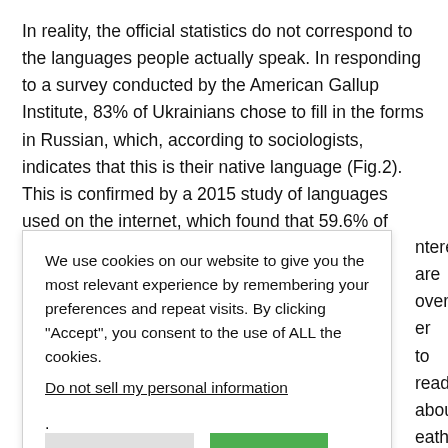In reality, the official statistics do not correspond to the languages people actually speak. In responding to a survey conducted by the American Gallup Institute, 83% of Ukrainians chose to fill in the forms in Russian, which, according to sociologists, indicates that this is their native language (Fig.2). This is confirmed by a 2015 study of languages used on the internet, which found that 59.6% of
We use cookies on our website to give you the most relevant experience by remembering your preferences and repeat visits. By clicking "Accept", you consent to the use of ALL the cookies.

Do not sell my personal information.
nteresting are overnment er to read about eather, etc.) in over the years. were submitted Jkrainian in nians prefer